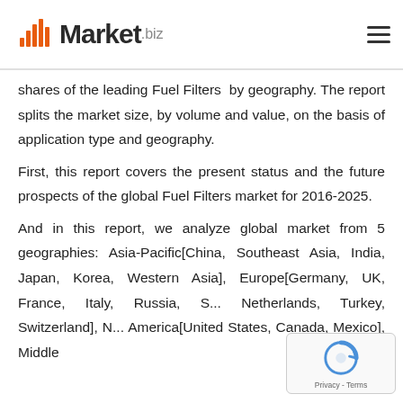Market.biz
shares of the leading Fuel Filters  by geography. The report splits the market size, by volume and value, on the basis of application type and geography.
First, this report covers the present status and the future prospects of the global Fuel Filters market for 2016-2025.
And in this report, we analyze global market from 5 geographies: Asia-Pacific[China, Southeast Asia, India, Japan, Korea, Western Asia], Europe[Germany, UK, France, Italy, Russia, S... Netherlands, Turkey, Switzerland], N... America[United States, Canada, Mexico], Middle...